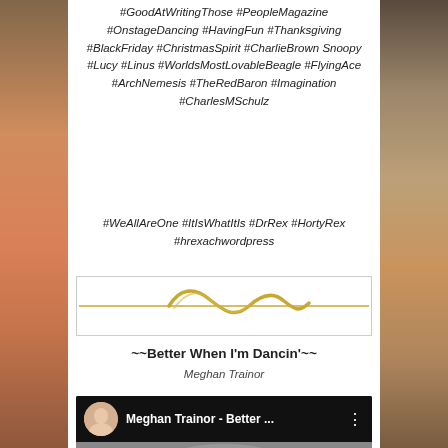#GoodAtWritingThose #PeopleMagazine #OnstageDancing #HavingFun #Thanksgiving #BlackFriday #ChristmasSpirit #CharlieBrown Snoopy #Lucy #Linus #WorldsMostLovableBeagle #FlyingAce #ArchNemesis #TheRedBaron #Imagination #CharlesMSchulz
#WeAllAreOne #ItIsWhatItIs #DrRex #HortyRex #hrexachwordpress
[Figure (illustration): Gold decorative wavy divider line]
~~Better When I'm Dancin'~~
Meghan Trainor
[Figure (screenshot): YouTube video thumbnail for Meghan Trainor - Better When I'm Dancin', showing the video title bar with avatar and a black and white image of Meghan Trainor]